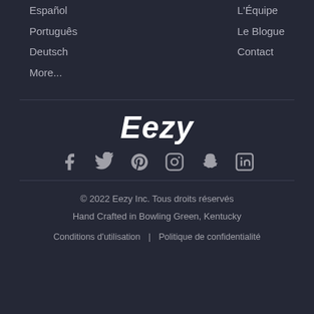Español
L'Équipe
Português
Le Blogue
Deutsch
Contact
More...
Eezy
[Figure (infographic): Social media icons: Facebook, Twitter, Pinterest, Instagram, Snapchat, LinkedIn]
© 2022 Eezy Inc. Tous droits réservés
Hand Crafted in Bowling Green, Kentucky
Conditions d'utilisation | Politique de confidentialité